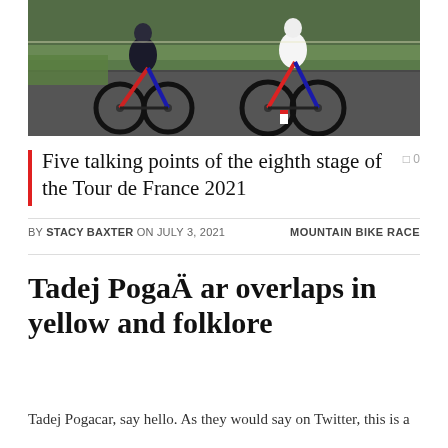[Figure (photo): Two cyclists riding on a road during the Tour de France 2021, photographed from a low angle showing their legs, wheels, and cycling gear against a green background.]
Five talking points of the eighth stage of the Tour de France 2021
BY STACY BAXTER ON JULY 3, 2021   MOUNTAIN BIKE RACE
Tadej Pogačar overlaps in yellow and folklore
Tadej Pogacar, say hello. As they would say on Twitter, this is a